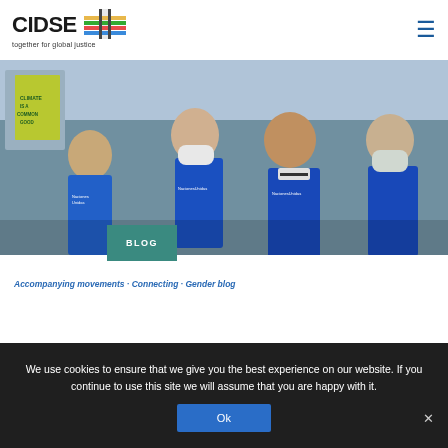[Figure (logo): CIDSE logo — text 'CIDSE' in bold black with tagline 'together for global justice' and a colorful cross/plus symbol with horizontal stripes]
[Figure (photo): Group of young activists at a climate march wearing blue vests with 'Naciones Unidas' branding, some wearing face masks, holding signs including 'Climate is a Common Good']
BLOG
Accompanying movements · Connecting · Gender blog
We use cookies to ensure that we give you the best experience on our website. If you continue to use this site we will assume that you are happy with it.